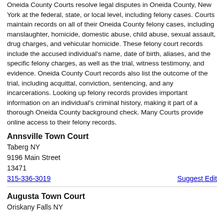Oneida County Courts resolve legal disputes in Oneida County, New York at the federal, state, or local level, including felony cases. Courts maintain records on all of their Oneida County felony cases, including manslaughter, homicide, domestic abuse, child abuse, sexual assault, drug charges, and vehicular homicide. These felony court records include the accused individual's name, date of birth, aliases, and the specific felony charges, as well as the trial, witness testimony, and evidence. Oneida County Court records also list the outcome of the trial, including acquittal, conviction, sentencing, and any incarcerations. Looking up felony records provides important information on an individual's criminal history, making it part of a thorough Oneida County background check. Many Courts provide online access to their felony records.
Annsville Town Court
Taberg NY
9196 Main Street
13471
315-336-3019
Suggest Edit
Augusta Town Court
Oriskany Falls NY